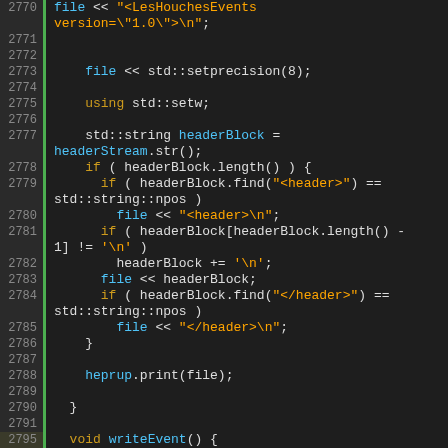[Figure (screenshot): Source code screenshot showing C++ code for a LesHouches event writer, lines 2770-2806, with syntax highlighting on dark background.]